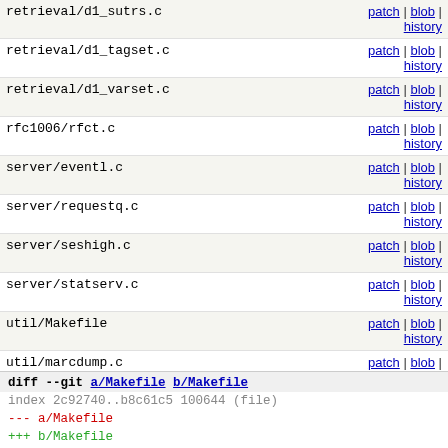| filepath | note | actions |
| --- | --- | --- |
| retrieval/d1_sutrs.c |  | patch | blob | history |
| retrieval/d1_tagset.c |  | patch | blob | history |
| retrieval/d1_varset.c |  | patch | blob | history |
| rfc1006/rfct.c |  | patch | blob | history |
| server/eventl.c |  | patch | blob | history |
| server/requestq.c |  | patch | blob | history |
| server/seshigh.c |  | patch | blob | history |
| server/statserv.c |  | patch | blob | history |
| util/Makefile |  | patch | blob | history |
| util/marcdump.c |  | patch | blob | history |
| util/readconf.c | [new file with mode: 0644] | patch | blob |
| util/wrbuf.c |  | patch | blob | history |
| util/yaz-ccl.c |  | patch | blob | history |
diff --git a/Makefile b/Makefile
index 2c92740..b8c61c5 100644 (file)
--- a/Makefile
+++ b/Makefile